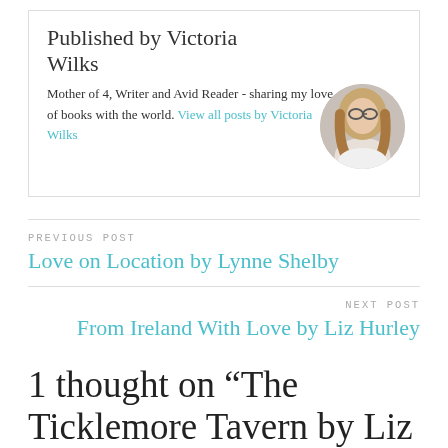Published by Victoria Wilks
Mother of 4, Writer and Avid Reader - sharing my love of books with the world. View all posts by Victoria Wilks
[Figure (photo): Circular profile photo of Victoria Wilks, a woman with long dark hair and glasses]
PREVIOUS POST
Love on Location by Lynne Shelby
NEXT POST
From Ireland With Love by Liz Hurley
1 thought on “The Ticklemore Tavern by Liz